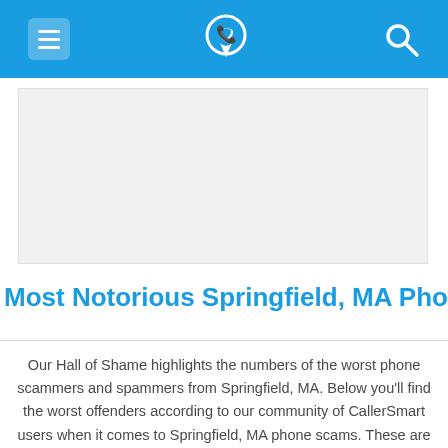[Navigation bar with menu, CallerSmart logo/phone icon, and search icon]
[Figure (other): Advertisement placeholder — light grey rectangular box]
Most Notorious Springfield, MA Phone Scams
Our Hall of Shame highlights the numbers of the worst phone scammers and spammers from Springfield, MA. Below you'll find the worst offenders according to our community of CallerSmart users when it comes to Springfield, MA phone scams. These are the Springfield, MA numbers with the lowest Trust Factor ratings